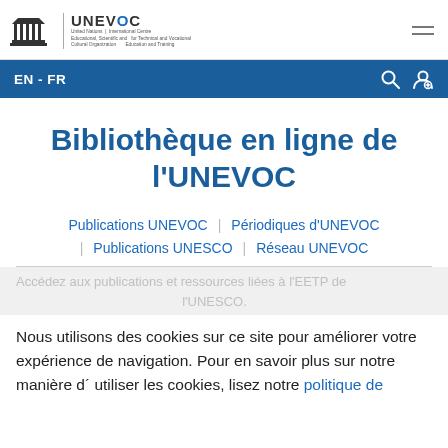UNESCO UNEVOC — United Nations Educational, Scientific and Cultural Organization | International Centre for Technical and Vocational Education and Training
EN - FR
Bibliothèque en ligne de l'UNEVOC
Publications UNEVOC | Périodiques d'UNEVOC | Publications UNESCO | Réseau UNEVOC
Accédez aux publications et ressources liées à l'EETP de l'UNESCO.
Nous utilisons des cookies sur ce site pour améliorer votre expérience de navigation. Pour en savoir plus sur notre manière d´ utiliser les cookies, lisez notre politique de